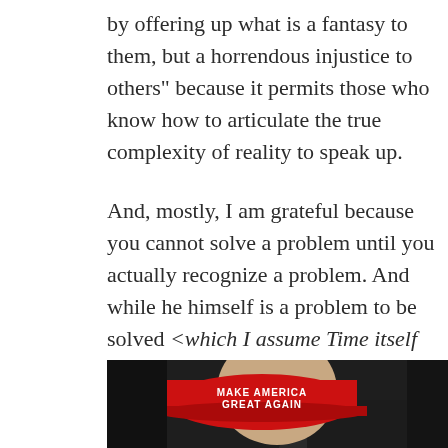by offering up what is a fantasy to them, but a horrendous injustice to others" because it permits those who know how to articulate the true complexity of reality to speak up.

And, mostly, I am grateful because you cannot solve a problem until you actually recognize a problem. And while he himself is a problem to be solved <which I assume Time itself will deal with> he has uncovered all the problems I have listed
[Figure (photo): Photo of a person wearing a red 'Make America Great Again' cap, shown from below/behind angle with dark background]